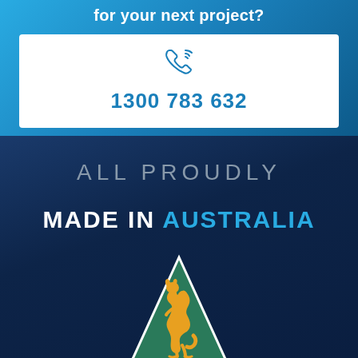for your next project?
1300 783 632
ALL PROUDLY
MADE IN AUSTRALIA
[Figure (logo): Australian Made kangaroo logo - green triangle with yellow kangaroo silhouette]